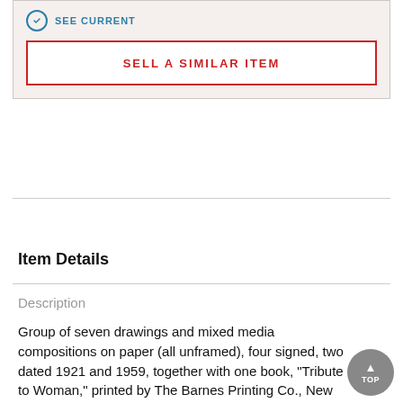SELL A SIMILAR ITEM
Item Details
Description
Group of seven drawings and mixed media compositions on paper (all unframed), four signed, two dated 1921 and 1959, together with one book, "Tribute to Woman," printed by The Barnes Printing Co., New York; Largest: 30" x 20"